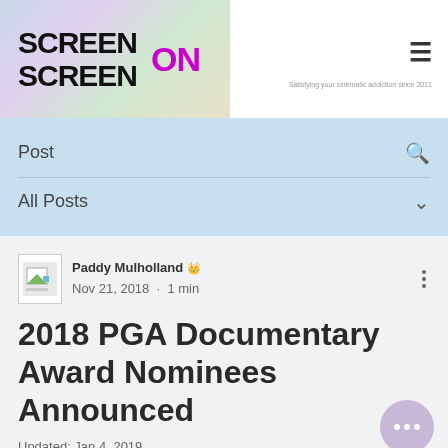SCREEN SCREEN ON — satisfying your cinematic addiction since 2011
Post
All Posts
Paddy Mulholland  Nov 21, 2018 · 1 min
2018 PGA Documentary Award Nominees Announced
Updated: Jan 4, 2019